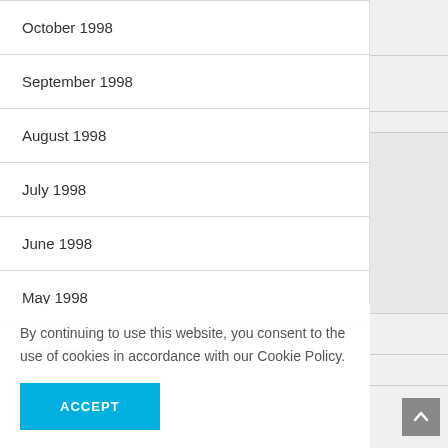October 1998
September 1998
August 1998
July 1998
June 1998
May 1998
April 1998
By continuing to use this website, you consent to the use of cookies in accordance with our Cookie Policy.
ACCEPT